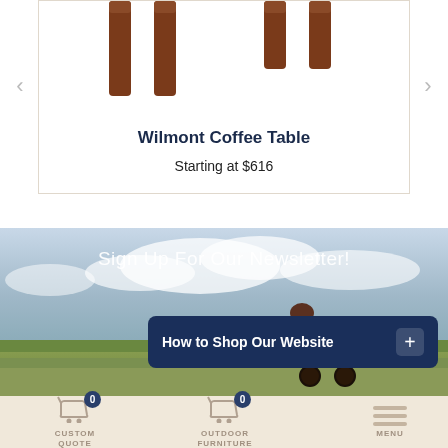[Figure (photo): Partial view of wooden coffee table legs (dark wood finish) visible at top of product card]
Wilmont Coffee Table
Starting at $616
[Figure (photo): Amish horse and buggy in a rural field with blue sky and clouds — newsletter banner background]
Sign Up For Our Newsletter!
How to Shop Our Website +
CUSTOM QUOTE
OUTDOOR FURNITURE
MENU